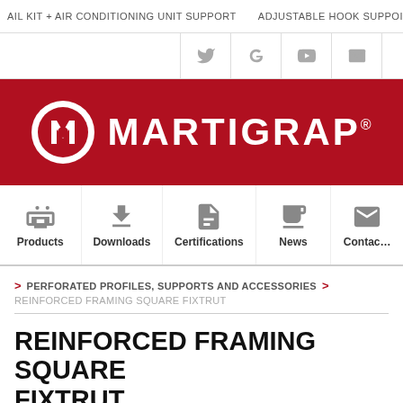AIL KIT + AIR CONDITIONING UNIT SUPPORT   ADJUSTABLE HOOK SUPPOI
[Figure (logo): Martigrap logo — white circular emblem with stylized M on dark red background, followed by white bold text MARTIGRAP with registered trademark symbol]
[Figure (infographic): Navigation menu icons: Products (tag icon), Downloads (download arrow icon), Certifications (document icon), News (newspaper icon), Contact (envelope icon)]
> PERFORATED PROFILES, SUPPORTS AND ACCESSORIES >
REINFORCED FRAMING SQUARE FIXTRUT
REINFORCED FRAMING SQUARE FIXTRUT